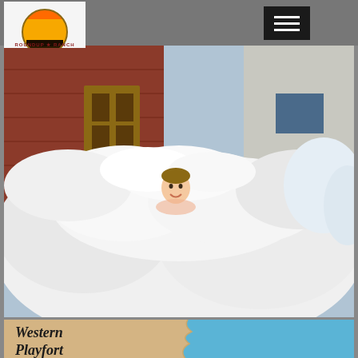Roundup Ranch header navigation
[Figure (logo): Roundup Ranch logo with sunset and horseback riders silhouette]
[Figure (photo): Child buried in large foam/bubble pit outdoors next to rustic western-style buildings]
[Figure (illustration): Western Playfort promotional card with torn-paper tan background on left and blue sky on right, text reads 'Western Playfort']